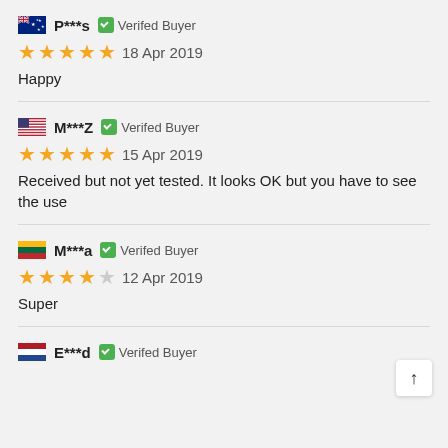P***s — Verifed Buyer — 18 Apr 2019 — Happy
M***Z — Verifed Buyer — 15 Apr 2019 — Received but not yet tested. It looks OK but you have to see the use
M***a — Verifed Buyer — 12 Apr 2019 — Super
E***d — Verifed Buyer